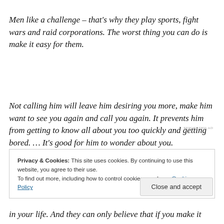Men like a challenge – that's why they play sports, fight wars and raid corporations. The worst thing you can do is make it easy for them.
Not calling him will leave him desiring you more, make him want to see you again and call you again. It prevents him from getting to know all about you too quickly and getting bored. … It's good for him to wonder about you.
REPORT THIS AD
Privacy & Cookies: This site uses cookies. By continuing to use this website, you agree to their use.
To find out more, including how to control cookies, see here: Cookie Policy
Close and accept
in your life. And they can only believe that if you make it